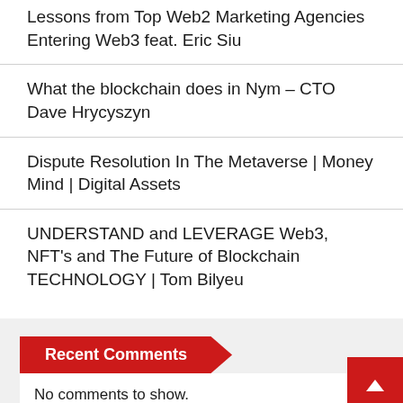Lessons from Top Web2 Marketing Agencies Entering Web3 feat. Eric Siu
What the blockchain does in Nym – CTO Dave Hrycyszyn
Dispute Resolution In The Metaverse | Money Mind | Digital Assets
UNDERSTAND and LEVERAGE Web3, NFT's and The Future of Blockchain TECHNOLOGY | Tom Bilyeu
Recent Comments
No comments to show.